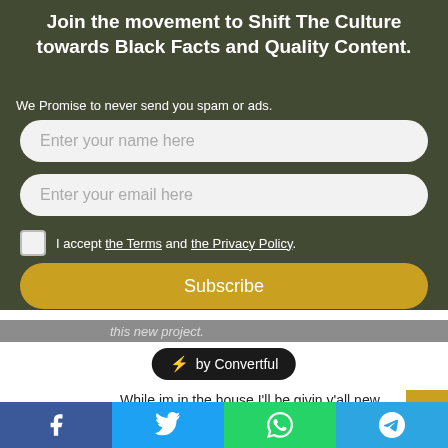Join the movement to Shift The Culture towards Black Facts and Quality Content.
We Promise to never send you spam or ads.
Enter your name here
Enter your email here
I accept the Terms and the Privacy Policy.
Subscribe
this new project.
⚡ by Convertful
While im in the house I'll be givin y'all new content, planning raves, and readying this new project
Facebook | Twitter | WhatsApp | Telegram